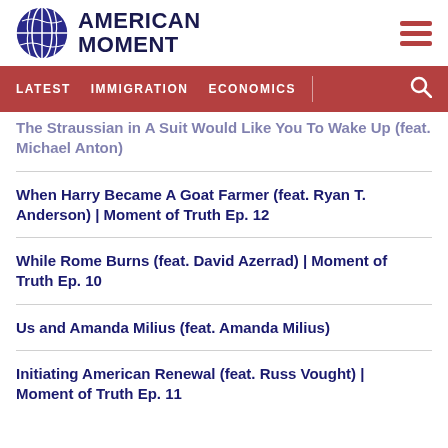American Moment
LATEST   IMMIGRATION   ECONOMICS
The Straussian in A Suit Would Like You To Wake Up (feat. Michael Anton)
When Harry Became A Goat Farmer (feat. Ryan T. Anderson) | Moment of Truth Ep. 12
While Rome Burns (feat. David Azerrad) | Moment of Truth Ep. 10
Us and Amanda Milius (feat. Amanda Milius)
Initiating American Renewal (feat. Russ Vought) | Moment of Truth Ep. 11